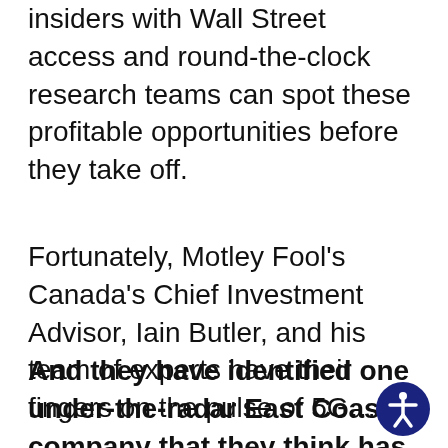insiders with Wall Street access and round-the-clock research teams can spot these profitable opportunities before they take off.
Fortunately, Motley Fool's Canada's Chief Investment Advisor, Iain Butler, and his team of experts have their fingers on the pulse of 5G…
And they have identified one under-the-radar East Coast company that they think has cleverly positioned itself to dominate the 5G industry with its